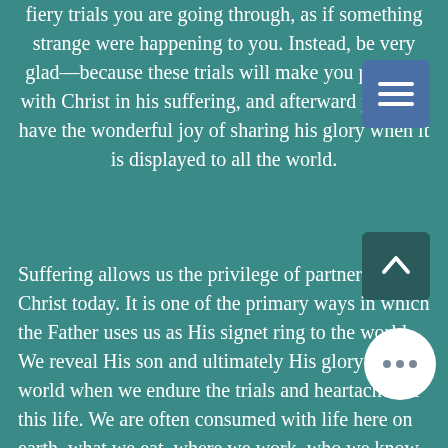fiery trials you are going through, as if something strange were happening to you. Instead, be very glad—because these trials will make you partners with Christ in his suffering, and afterward you will have the wonderful joy of sharing his glory when it is displayed to all the world.
Suffering allows us the privilege of partnering with Christ today. It is one of the primary ways in which the Father uses us as His signet ring to the world. We reveal His son and ultimately His glory to the world when we endure the trials and heartaches of this life. We are often consumed with life here on earth, what we eat, where we work, who we know and how to dress. We